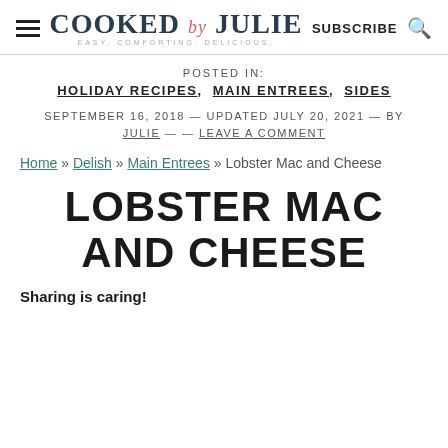COOKED by JULIE — EASY. COMFORTING. DELICIOUS. | SUBSCRIBE
POSTED IN:
HOLIDAY RECIPES, MAIN ENTREES, SIDES
SEPTEMBER 16, 2018 — UPDATED JULY 20, 2021 — BY JULIE — — LEAVE A COMMENT
Home » Delish » Main Entrees » Lobster Mac and Cheese
LOBSTER MAC AND CHEESE
Sharing is caring!